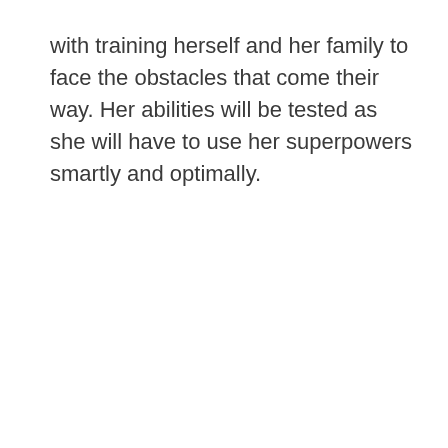with training herself and her family to face the obstacles that come their way. Her abilities will be tested as she will have to use her superpowers smartly and optimally.